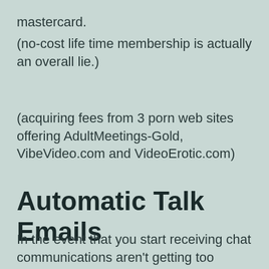mastercard.
(no-cost life time membership is actually an overall lie.)
(acquiring fees from 3 porn web sites offering AdultMeetings-Gold, VibeVideo.com and VideoErotic.com)
Automatic Talk Emails
In the event that you start receiving chat communications aren't getting too excited. Unfortuitously any chat emails you will get on this website are entirely fake. This web site has